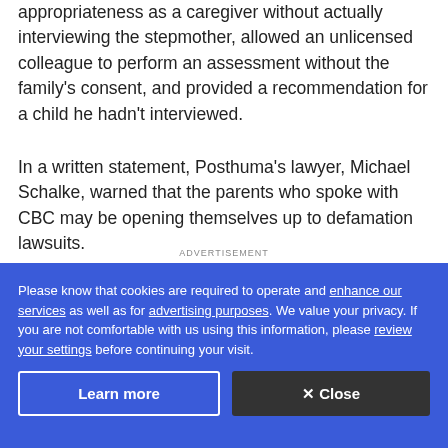appropriateness as a caregiver without actually interviewing the stepmother, allowed an unlicensed colleague to perform an assessment without the family's consent, and provided a recommendation for a child he hadn't interviewed.
In a written statement, Posthuma's lawyer, Michael Schalke, warned that the parents who spoke with CBC may be opening themselves up to defamation lawsuits.
ADVERTISEMENT
Please know that cookies are required to operate and enhance our services as well as for advertising purposes. We value your privacy. If you are not comfortable with us using this information, please review your settings before continuing your visit.